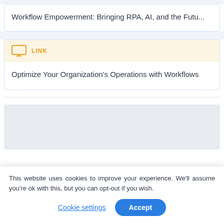Workflow Empowerment: Bringing RPA, AI, and the Futu...
[Figure (other): Orange monitor/screen icon with LINK label on a light yellow banner]
Optimize Your Organization’s Operations with Workflows
This website uses cookies to improve your experience. We’ll assume you’re ok with this, but you can opt-out if you wish.
Cookie settings  Accept